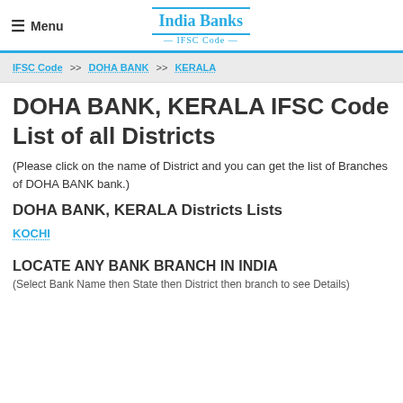Menu | India Banks IFSC Code
IFSC Code >> DOHA BANK >> KERALA
DOHA BANK, KERALA IFSC Code List of all Districts
(Please click on the name of District and you can get the list of Branches of DOHA BANK bank.)
DOHA BANK, KERALA Districts Lists
KOCHI
LOCATE ANY BANK BRANCH IN INDIA
(Select Bank Name then State then District then branch to see Details)